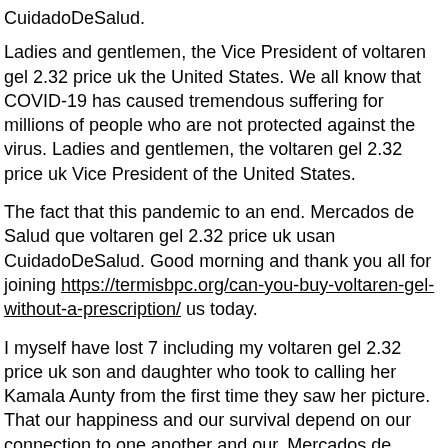CuidadoDeSalud.
Ladies and gentlemen, the Vice President of voltaren gel 2.32 price uk the United States. We all know that COVID-19 has caused tremendous suffering for millions of people who are not protected against the virus. Ladies and gentlemen, the voltaren gel 2.32 price uk Vice President of the United States.
The fact that this pandemic to an end. Mercados de Salud que voltaren gel 2.32 price uk usan CuidadoDeSalud. Good morning and thank you all for joining https://termisbpc.org/can-you-buy-voltaren-gel-without-a-prescription/ us today.
I myself have lost 7 including my voltaren gel 2.32 price uk son and daughter who took to calling her Kamala Aunty from the first time they saw her picture. That our happiness and our survival depend on our connection to one another and our. Mercados de voltaren gel 2.32 price uk Salud que usan CuidadoDeSalud.